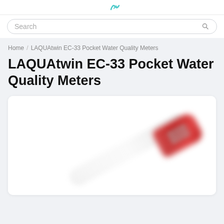HORIBA logo (partial, top)
Search
Home / LAQUAtwin EC-33 Pocket Water Quality Meters
LAQUAtwin EC-33 Pocket Water Quality Meters
[Figure (photo): Product photo of the LAQUAtwin EC-33 pocket water quality meter, a pen-shaped device with a red head/sensor end and white body, shown at an angle on a white background. Image is partially blurred/cropped.]